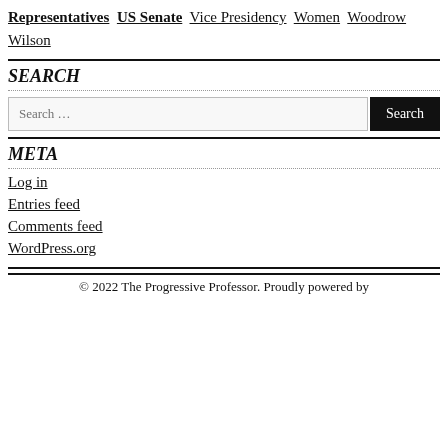Representatives  US Senate  Vice Presidency  Women  Woodrow Wilson
SEARCH
Search …  [Search button]
META
Log in
Entries feed
Comments feed
WordPress.org
© 2022 The Progressive Professor. Proudly powered by